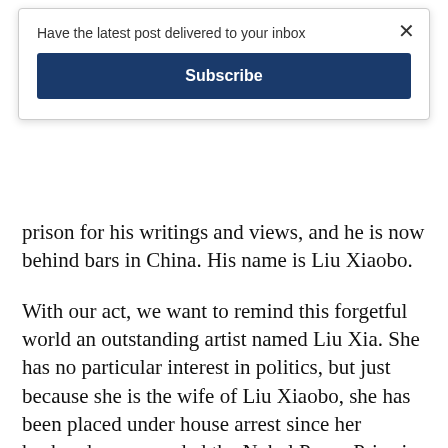Have the latest post delivered to your inbox
Subscribe
prison for his writings and views, and he is now behind bars in China. His name is Liu Xiaobo.
With our act, we want to remind this forgetful world an outstanding artist named Liu Xia. She has no particular interest in politics, but just because she is the wife of Liu Xiaobo, she has been placed under house arrest since her husband was awarded the Nobel Peace Prize in October, 2010.
With our act, we want to remind this forgetful world that, in Beijing, the capital of China,